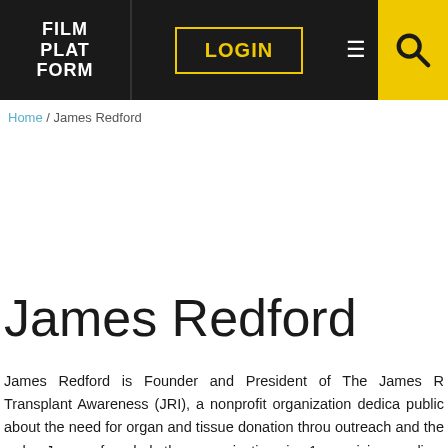FILM PLATFORM | LOGIN
Home / James Redford
James Redford
James Redford is Founder and President of The James R Transplant Awareness (JRI), a nonprofit organization dedica public about the need for organ and tissue donation throu outreach and the web. James founded the organization in 1 receiving a liver transplant at the University of Nebraska Me